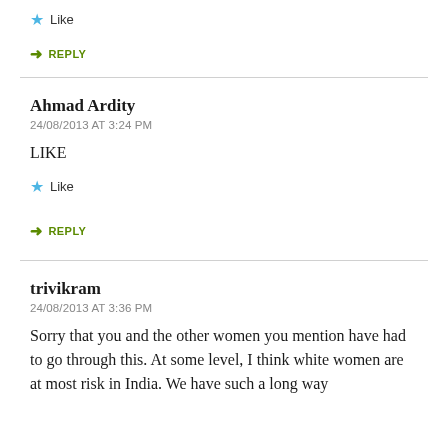Like
REPLY
Ahmad Ardity
24/08/2013 AT 3:24 PM
LIKE
Like
REPLY
trivikram
24/08/2013 AT 3:36 PM
Sorry that you and the other women you mention have had to go through this. At some level, I think white women are at most risk in India. We have such a long way